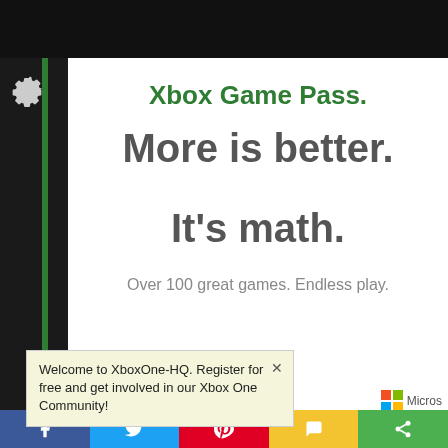[Figure (screenshot): Screenshot of a webpage promoting Xbox Game Pass with the tagline 'More is better. It's math.' and 'Over 100 great games. Endless play.' with a notification popup, Xbox Game Pass logo, Microsoft logo, and social share bar at bottom.]
Xbox Game Pass.
More is better. It's math.
Over 100 great games. Endless play.
Welcome to XboxOne-HQ. Register for free and get involved in our Xbox One Community!